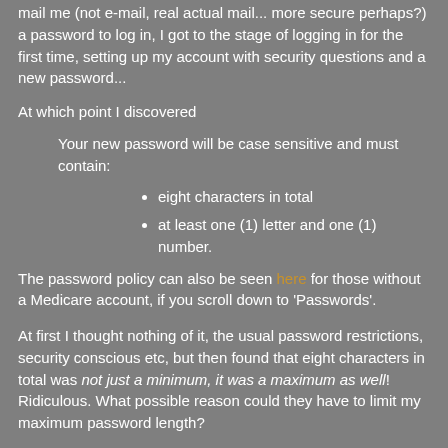mail me (not e-mail, real actual mail... more secure perhaps?) a password to log in, I got to the stage of logging in for the first time, setting up my account with security questions and a new password...
At which point I discovered
Your new password will be case sensitive and must contain:
eight characters in total
at least one (1) letter and one (1) number.
The password policy can also be seen here for those without a Medicare account, if you scroll down to 'Passwords'.
At first I thought nothing of it, the usual password restrictions, security conscious etc, but then found that eight characters in total was not just a minimum, it was a maximum as well! Ridiculous. What possible reason could they have to limit my maximum password length?